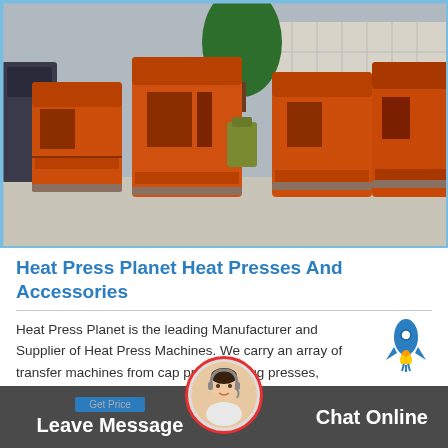[Figure (photo): Outdoor yard with multiple large orange industrial machines (hammer mills / heat press machines) lined up on concrete pavement, with a tree and building in the background.]
Heat Press Planet Heat Presses And Accessories
Heat Press Planet is the leading Manufacturer and Supplier of Heat Press Machines. We carry an array of transfer machines from cap presses, mug presses, silkscreens, and heat presses.
Leave Message   Chat Online